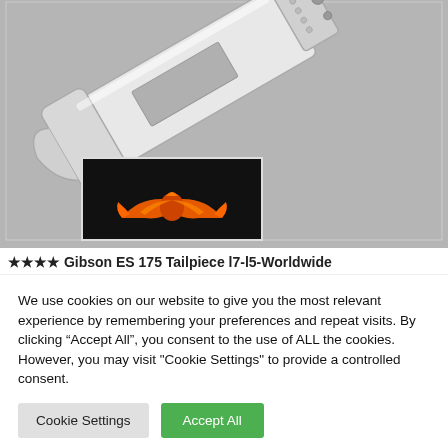[Figure (photo): Product photo of a Gibson ES 175 Tailpiece, a chrome metal guitar tailpiece shown on a gray background. In the lower-left corner is a thumbnail inset showing a phoenix/bird logo on a black background.]
⭐⭐⭐⭐ Gibson ES 175 Tailpiece l7-l5-Worldwide Shipping⭐⭐ Unexpected...
We use cookies on our website to give you the most relevant experience by remembering your preferences and repeat visits. By clicking "Accept All", you consent to the use of ALL the cookies. However, you may visit "Cookie Settings" to provide a controlled consent.